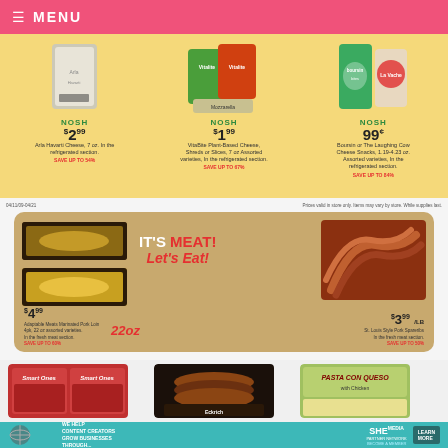MENU
[Figure (photo): Grocery store flyer section showing three cheese products on yellow background: Arla Havarti Cheese, VitaBite Plant-Based Cheese, and Boursin Bites / Laughing Cow Cheese Snacks with NOSH pricing]
NOSH $2.99 Arla Havarti Cheese, 7 oz. In the refrigerated section. SAVE UP TO 54%
NOSH $1.99 VitaBite Plant-Based Cheese, Shreds or Slices, 7 oz Assorted varieties, In the refrigerated section. SAVE UP TO 67%
NOSH 99¢ Boursin or The Laughing Cow Cheese Snacks, 1.19-4.23 oz. Assorted varieties, In the refrigerated section. SAVE UP TO 84%
Prices valid in store only. Items may vary by store. While supplies last.
[Figure (photo): Meat promotion banner on tan/kraft paper background showing marinated pork loin products on left (22 oz), ribs on right, with text IT'S MEAT! Let's Eat!. Prices: $4.99 Adaptable Meats Marinated Pork Loin 4pk, 22 oz assorted varieties, in the fresh meat section. SAVE UP TO 60%. $3.99/LB St. Louis Style Pork Spareribs, in the fresh meat section. SAVE UP TO 50%.]
[Figure (photo): Bottom section showing three products: Smart Ones frozen meals, Eckrich sausage, and Pasta Con Queso with Chicken]
[Figure (screenshot): SHE Media advertisement banner: WE HELP CONTENT CREATORS GROW BUSINESSES THROUGH... SHE PARTNER NETWORK BECOME A MEMBER. LEARN MORE button]